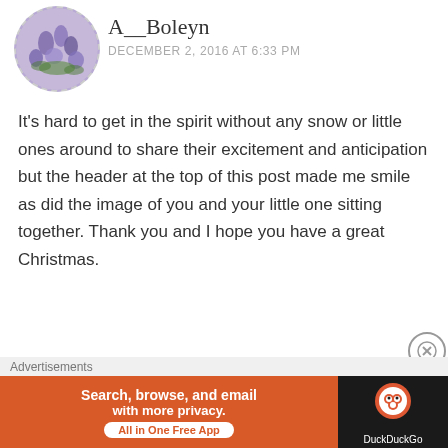[Figure (photo): Avatar circle with purple/blue flowers, dashed border]
A__Boleyn
DECEMBER 2, 2016 AT 6:33 PM
It's hard to get in the spirit without any snow or little ones around to share their excitement and anticipation but the header at the top of this post made me smile as did the image of you and your little one sitting together. Thank you and I hope you have a great Christmas.
Log in to Reply
[Figure (logo): cookingwithoutlimits avatar: bowl with steam, red/orange logo, dashed orange border circle]
cookingwithoutlimits
DECEMBER 2, 2016 AT 7:33 PM
[Figure (other): DuckDuckGo advertisement banner: Search, browse, and email with more privacy. All in One Free App. DuckDuckGo logo on dark background.]